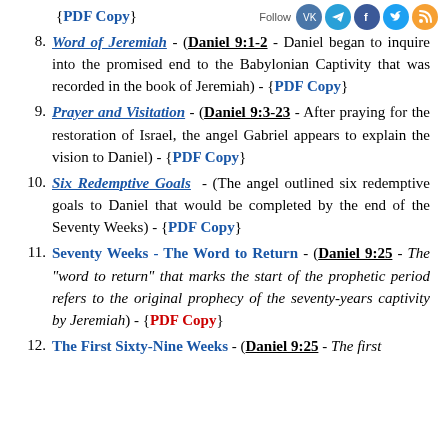{PDF Copy}
8. Word of Jeremiah - (Daniel 9:1-2 - Daniel began to inquire into the promised end to the Babylonian Captivity that was recorded in the book of Jeremiah) - {PDF Copy}
9. Prayer and Visitation - (Daniel 9:3-23 - After praying for the restoration of Israel, the angel Gabriel appears to explain the vision to Daniel) - {PDF Copy}
10. Six Redemptive Goals - (The angel outlined six redemptive goals to Daniel that would be completed by the end of the Seventy Weeks) - {PDF Copy}
11. Seventy Weeks - The Word to Return - (Daniel 9:25 - The "word to return" that marks the start of the prophetic period refers to the original prophecy of the seventy-years captivity by Jeremiah) - {PDF Copy}
12. The First Sixty-Nine Weeks - (Daniel 9:25 - The first